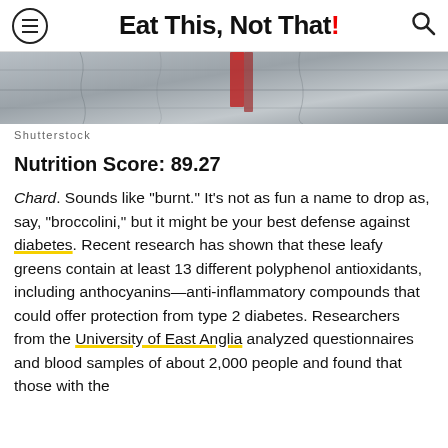Eat This, Not That!
[Figure (photo): Partial photo of vegetables or food on a wooden background with red accents, cropped at top]
Shutterstock
Nutrition Score: 89.27
Chard. Sounds like "burnt." It's not as fun a name to drop as, say, "broccolini," but it might be your best defense against diabetes. Recent research has shown that these leafy greens contain at least 13 different polyphenol antioxidants, including anthocyanins—anti-inflammatory compounds that could offer protection from type 2 diabetes. Researchers from the University of East Anglia analyzed questionnaires and blood samples of about 2,000 people and found that those with the